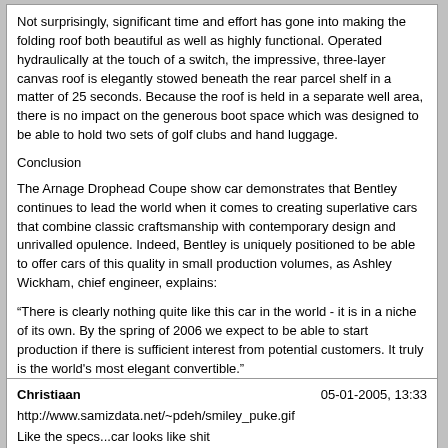Not surprisingly, significant time and effort has gone into making the folding roof both beautiful as well as highly functional. Operated hydraulically at the touch of a switch, the impressive, three-layer canvas roof is elegantly stowed beneath the rear parcel shelf in a matter of 25 seconds. Because the roof is held in a separate well area, there is no impact on the generous boot space which was designed to be able to hold two sets of golf clubs and hand luggage.
Conclusion
The Arnage Drophead Coupe show car demonstrates that Bentley continues to lead the world when it comes to creating superlative cars that combine classic craftsmanship with contemporary design and unrivalled opulence. Indeed, Bentley is uniquely positioned to be able to offer cars of this quality in small production volumes, as Ashley Wickham, chief engineer, explains:
“There is clearly nothing quite like this car in the world - it is in a niche of its own. By the spring of 2006 we expect to be able to start production if there is sufficient interest from potential customers. It truly is the world's most elegant convertible.”
The Arnage Drophead Coupe is that most admired of motor cars - a classic Bentley convertible based upon a tried and tested engineering platform that can fulfil the dreams of customers looking for exclusivity and indulgence in a car that evokes the Riviera lifestyle like no other.
“The launch of this car highlights the amazing flexibility of Bentley's engineering processes, demonstrating yet again that Bentley is the leader when it comes to bespoke cars,” says Dr Ulrich Eichhorn, member of the board, engineering. “Some of the skills we have at Bentley don't exist anywhere else in the world and it shows in this car.”
Christiaan
05-01-2005, 13:33
http://www.samizdata.net/~pdeh/smiley_puke.gif
Like the specs...car looks like shit